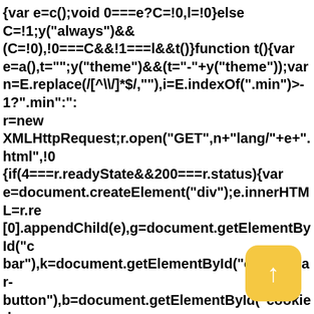{var e=c();void 0===e?C=!0,l=!0:else C=!1;y("always")&&(C=!0),!0===C&&!1===l&&t()}function t(){var e=a(),t="";y("theme")&&(t="-"+y("theme"));var n=E.replace(/[^\/]*$/,""),i=E.indexOf(".min")>-1?".min":"" r=new XMLHttpRequest;r.open("GET",n+"lang/"+e+".html",!0 {if(4===r.readyState&&200===r.status){var e=document.createElement("div");e.innerHTML=r.re [0].appendChild(e),g=document.getElementById("c bar"),k=document.getElementById("cookie-bar-button"),b=document.getElementById("cookie-bar-button-no"),f=document.getElementById("cookie-bar-prompt"),v=document.getElementById("cookie-bar-prompt-button"),h=document.getElementById("cookie-bar-prompt-close"),promptContent=document.getElem d("cookie-bar-prompt-
[Figure (other): A yellow rounded square button with an upward arrow (↑) in white, positioned in the bottom-right corner of the page.]